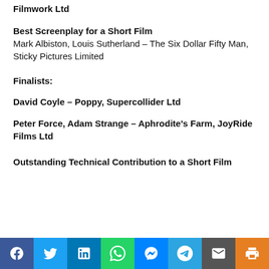Filmwork Ltd
Best Screenplay for a Short Film
Mark Albiston, Louis Sutherland – The Six Dollar Fifty Man, Sticky Pictures Limited
Finalists:
David Coyle – Poppy, Supercollider Ltd
Peter Force, Adam Strange – Aphrodite's Farm, JoyRide Films Ltd
Outstanding Technical Contribution to a Short Film